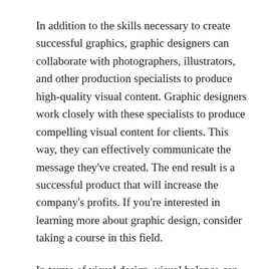In addition to the skills necessary to create successful graphics, graphic designers can collaborate with photographers, illustrators, and other production specialists to produce high-quality visual content. Graphic designers work closely with these specialists to produce compelling visual content for clients. This way, they can effectively communicate the message they've created. The end result is a successful product that will increase the company's profits. If you're interested in learning more about graphic design, consider taking a course in this field.
In terms of visual design, visual balance can be achieved with color, line, shape, and space. By balancing the weight of similar shapes, a design can be visually balanced. The design must be